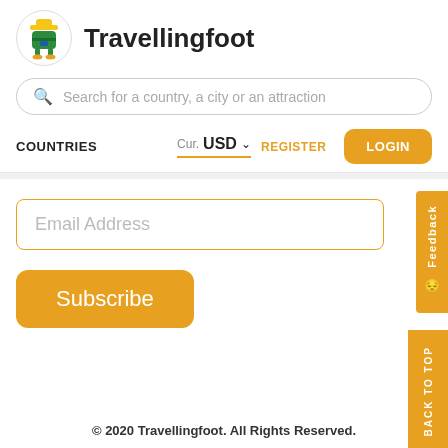[Figure (logo): Travellingfoot mascot logo — green backpack character with yellow hat on white circle, and site name 'Travellingfoot' in bold black text]
Search for a country, a city or an attraction
COUNTRIES  Cur. USD  REGISTER  LOGIN
Email Address
Subscribe
Feedback
BACK TO TOP
© 2020 Travellingfoot. All Rights Reserved.